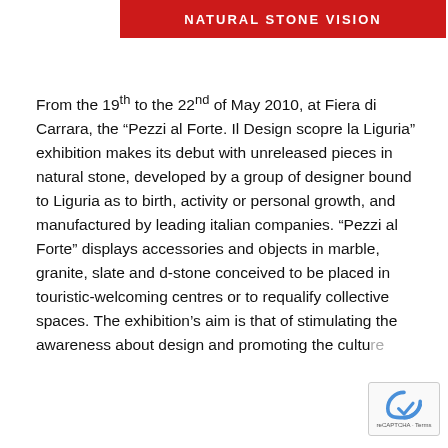[Figure (logo): Red banner with white text reading NATURAL STONE VISION]
From the 19th to the 22nd of May 2010, at Fiera di Carrara, the “Pezzi al Forte. Il Design scopre la Liguria” exhibition makes its debut with unreleased pieces in natural stone, developed by a group of designer bound to Liguria as to birth, activity or personal growth, and manufactured by leading italian companies. “Pezzi al Forte” displays accessories and objects in marble, granite, slate and d-stone conceived to be placed in touristic-welcoming centres or to requalify collective spaces. The exhibition’s aim is that of stimulating the awareness about design and promoting the culture